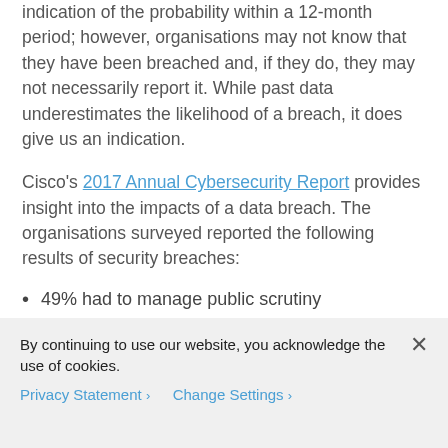indication of the probability within a 12-month period; however, organisations may not know that they have been breached and, if they do, they may not necessarily report it. While past data underestimates the likelihood of a breach, it does give us an indication.
Cisco's 2017 Annual Cybersecurity Report provides insight into the impacts of a data breach. The organisations surveyed reported the following results of security breaches:
49% had to manage public scrutiny
(partially visible next list item)
By continuing to use our website, you acknowledge the use of cookies.
Privacy Statement > Change Settings >